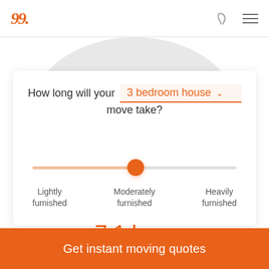[Figure (logo): Orange script logo resembling '99.' with a dot]
[Figure (illustration): Gray semicircle arc as decorative background behind the card]
How long will your 3 bedroom house move take?
[Figure (infographic): Horizontal slider with orange thumb positioned at center, left track in light orange, right track in gray]
Lightly furnished
Moderately furnished
Heavily furnished
~7.1 hours
Get instant moving quotes